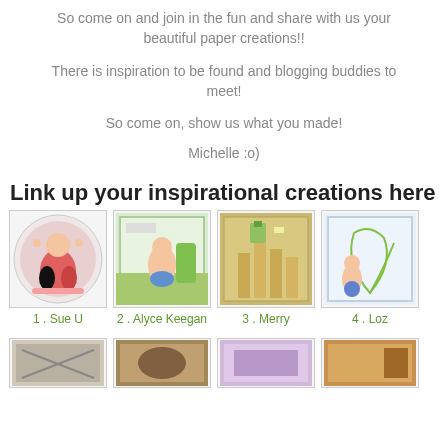So come on and join in the fun and share with us your beautiful paper creations!!
There is inspiration to be found and blogging buddies to meet!
So come on, show us what you made!
Michelle :o)
Link up your inspirational creations here
[Figure (photo): Thumbnail 1: circular paper craft with girl figure]
1 . Sue U
[Figure (photo): Thumbnail 2: paper card with girl in field]
2 . Alyce Keegan
[Figure (photo): Thumbnail 3: paper craft with vertical tan shapes]
3 . Merry
[Figure (photo): Thumbnail 4: card with child and vines]
4 . Loz
[Figure (photo): Thumbnail 5: partially visible]
[Figure (photo): Thumbnail 6: partially visible]
[Figure (photo): Thumbnail 7: partially visible]
[Figure (photo): Thumbnail 8: partially visible]